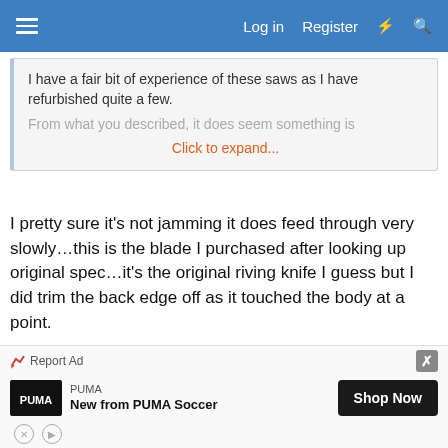Log in   Register
I have a fair bit of experience of these saws as I have refurbished quite a few.
From what you described, it does seem something is
Click to expand...
I pretty sure it's not jamming it does feed through very slowly…this is the blade I purchased after looking up original spec…it's the original riving knife I guess but I did trim the back edge off as it touched the body at a point.
[Figure (screenshot): Mobile phone screenshot showing EE WiFiCall carrier, time 10:45, battery indicator, date 6 February 15:02, back arrow, Edit button, and bullet point: Tooth spacing = 30mm]
[Figure (screenshot): Advertisement bar: Report Ad label, PUMA logo, 'New from PUMA Soccer' text, Shop Now button, close X button]